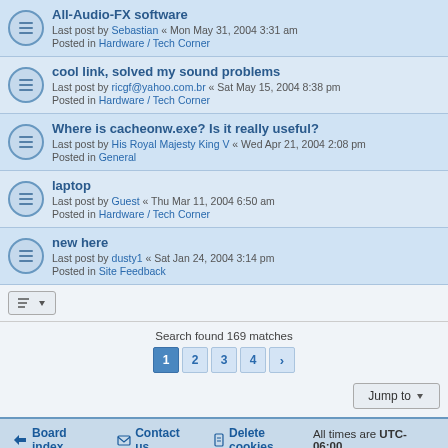All-Audio-FX software - Last post by Sebastian « Mon May 31, 2004 3:31 am - Posted in Hardware / Tech Corner
cool link, solved my sound problems - Last post by ricgf@yahoo.com.br « Sat May 15, 2004 8:38 pm - Posted in Hardware / Tech Corner
Where is cacheonw.exe? Is it really useful? - Last post by His Royal Majesty King V « Wed Apr 21, 2004 2:08 pm - Posted in General
laptop - Last post by Guest « Thu Mar 11, 2004 6:50 am - Posted in Hardware / Tech Corner
new here - Last post by dusty1 « Sat Jan 24, 2004 3:14 pm - Posted in Site Feedback
Search found 169 matches
Board index | Contact us | Delete cookies | All times are UTC-06:00
Powered by phpBB® Forum Software © phpBB Limited
Privacy | Terms